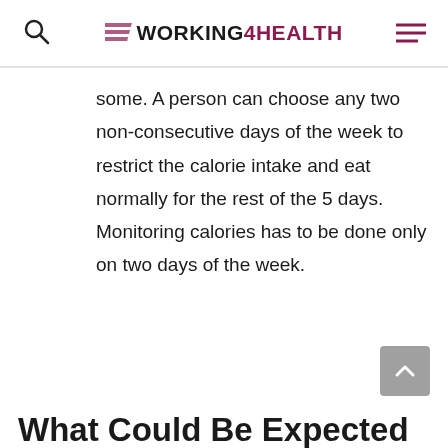WORKING4HEALTH
some. A person can choose any two non-consecutive days of the week to restrict the calorie intake and eat normally for the rest of the 5 days. Monitoring calories has to be done only on two days of the week.
What Could Be Expected